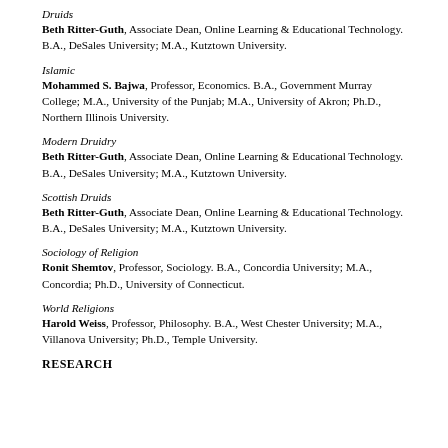Technology. B.A., DeSales University; M.A., Kutztown University.
Druids
Beth Ritter-Guth, Associate Dean, Online Learning & Educational Technology. B.A., DeSales University; M.A., Kutztown University.
Islamic
Mohammed S. Bajwa, Professor, Economics. B.A., Government Murray College; M.A., University of the Punjab; M.A., University of Akron; Ph.D., Northern Illinois University.
Modern Druidry
Beth Ritter-Guth, Associate Dean, Online Learning & Educational Technology. B.A., DeSales University; M.A., Kutztown University.
Scottish Druids
Beth Ritter-Guth, Associate Dean, Online Learning & Educational Technology. B.A., DeSales University; M.A., Kutztown University.
Sociology of Religion
Ronit Shemtov, Professor, Sociology. B.A., Concordia University; M.A., Concordia; Ph.D., University of Connecticut.
World Religions
Harold Weiss, Professor, Philosophy. B.A., West Chester University; M.A., Villanova University; Ph.D., Temple University.
RESEARCH